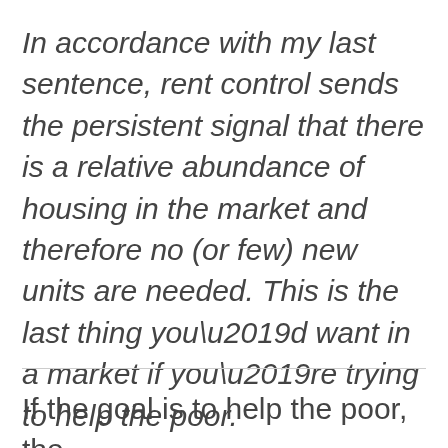In accordance with my last sentence, rent control sends the persistent signal that there is a relative abundance of housing in the market and therefore no (or few) new units are needed. This is the last thing you’d want in a market if you’re trying to help the poor.
If the goal is to help the poor, the